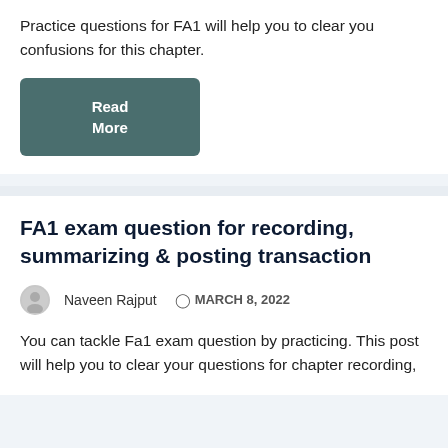Practice questions for FA1 will help you to clear you confusions for this chapter.
[Figure (other): A teal/dark green rounded rectangular button labeled 'Read More']
FA1 exam question for recording, summarizing & posting transaction
Naveen Rajput   MARCH 8, 2022
You can tackle Fa1 exam question by practicing. This post will help you to clear your questions for chapter recording,